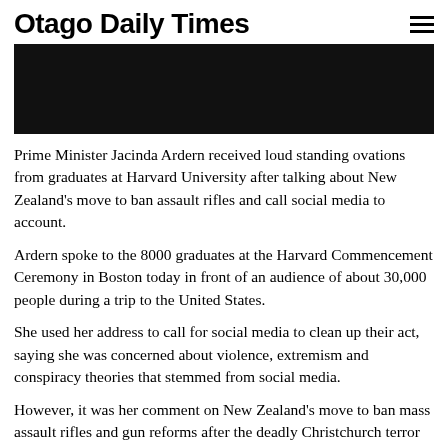Otago Daily Times
[Figure (photo): Dark/black hero image, likely a photo related to the article]
Prime Minister Jacinda Ardern received loud standing ovations from graduates at Harvard University after talking about New Zealand's move to ban assault rifles and call social media to account.
Ardern spoke to the 8000 graduates at the Harvard Commencement Ceremony in Boston today in front of an audience of about 30,000 people during a trip to the United States.
She used her address to call for social media to clean up their act, saying she was concerned about violence, extremism and conspiracy theories that stemmed from social media.
However, it was her comment on New Zealand's move to ban mass assault rifles and gun reforms after the deadly Christchurch terror attacks in 2019 that got her the loudest applause.